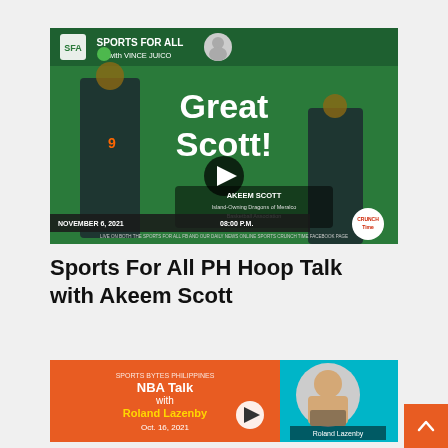[Figure (photo): Sports For All with Vince Juico promotional image featuring Akeem Scott with 'Great Scott!' text on green background, date November 6, 2021 08:00 PM, with play button overlay]
Sports For All PH Hoop Talk with Akeem Scott
[Figure (photo): Sports Bytes Philippines NBA Talk with Roland Lazenby promotional image on orange and teal background, Oct. 16, 2021, with play button and photo of Roland Lazenby]